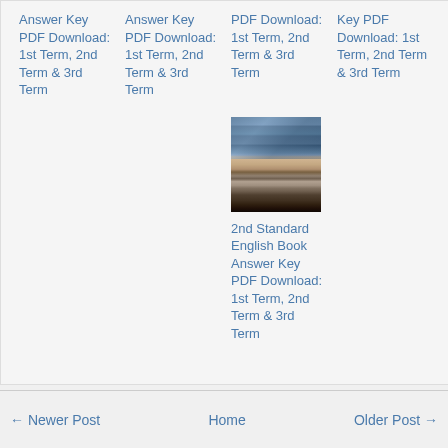Answer Key PDF Download: 1st Term, 2nd Term & 3rd Term
Answer Key PDF Download: 1st Term, 2nd Term & 3rd Term
PDF Download: 1st Term, 2nd Term & 3rd Term
Key PDF Download: 1st Term, 2nd Term & 3rd Term
[Figure (photo): Stack of books with an open book on top in front of a bookshelf]
2nd Standard English Book Answer Key PDF Download: 1st Term, 2nd Term & 3rd Term
← Newer Post    Home    Older Post →